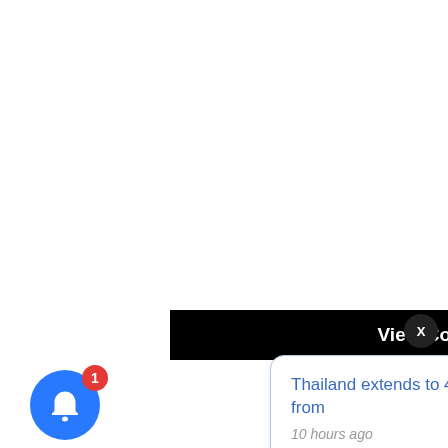[Figure (screenshot): Black bar button labeled 'View Comments (0)']
[Figure (screenshot): Close button (X) dark circle top right]
[Figure (screenshot): Notification popup card: 'Thailand extends to 45 days visa-free stay effective from' with timestamp '10 hours ago']
[Figure (screenshot): Blue bell notification button with red badge showing '1']
Published on